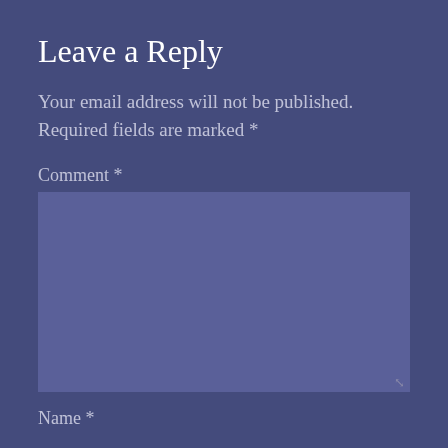Leave a Reply
Your email address will not be published. Required fields are marked *
Comment *
[Figure (other): Comment textarea input field with resize handle]
Name *